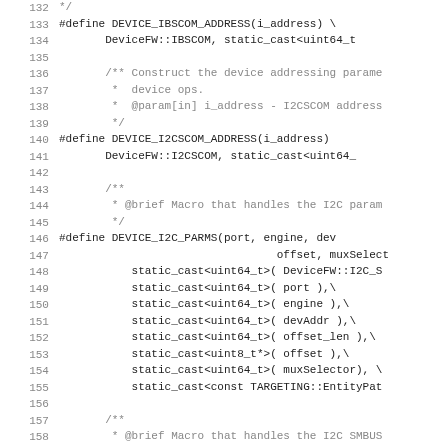Source code listing lines 132-161 showing C++ macro definitions for device addressing parameters including DEVICE_IBSCOM_ADDRESS, DEVICE_I2CSCOM_ADDRESS, DEVICE_I2C_PARMS, and I2C_SMBUS_RW_W_CMD_PARAMS macros with associated documentation comments.